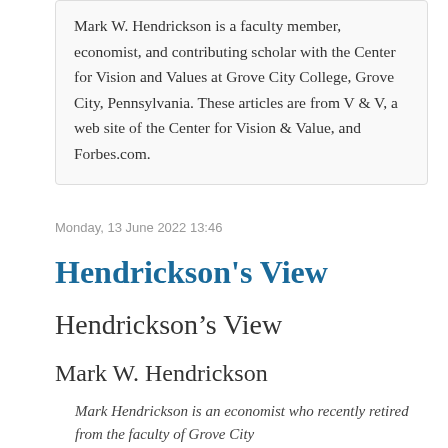Mark W. Hendrickson is a faculty member, economist, and contributing scholar with the Center for Vision and Values at Grove City College, Grove City, Pennsylvania. These articles are from V & V, a web site of the Center for Vision & Value, and Forbes.com.
Monday, 13 June 2022 13:46
Hendrickson's View
Hendrickson’s View
Mark W. Hendrickson
Mark Hendrickson is an economist who recently retired from the faculty of Grove City